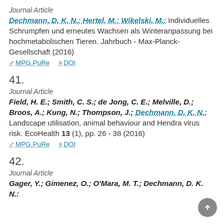Journal Article
Dechmann, D. K. N.; Hertel, M.; Wikelski, M.: Individuelles Schrumpfen und erneutes Wachsen als Winteranpassung bei hochmetabolischen Tieren. Jahrbuch - Max-Planck-Gesellschaft (2016)
MPG.PuRe   DOI
41.
Journal Article
Field, H. E.; Smith, C. S.; de Jong, C. E.; Melville, D.; Broos, A.; Kung, N.; Thompson, J.; Dechmann, D. K. N.: Landscape utilisation, animal behaviour and Hendra virus risk. EcoHealth 13 (1), pp. 26 - 38 (2016)
MPG.PuRe   DOI
42.
Journal Article
Gager, Y.; Gimenez, O.; O'Mara, M. T.; Dechmann, D. K. N.: